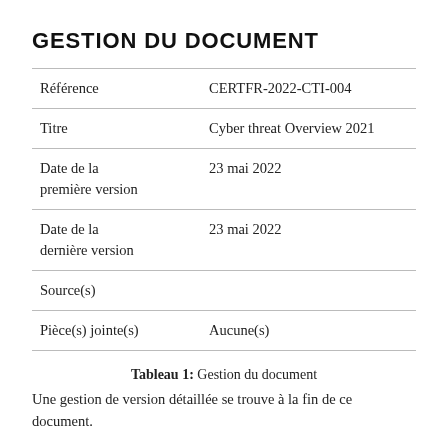GESTION DU DOCUMENT
|  |  |
| --- | --- |
| Référence | CERTFR-2022-CTI-004 |
| Titre | Cyber threat Overview 2021 |
| Date de la première version | 23 mai 2022 |
| Date de la dernière version | 23 mai 2022 |
| Source(s) |  |
| Pièce(s) jointe(s) | Aucune(s) |
Tableau 1: Gestion du document
Une gestion de version détaillée se trouve à la fin de ce document.